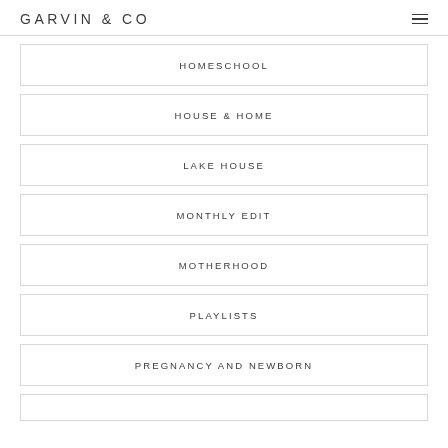GARVIN & CO
HOMESCHOOL
HOUSE & HOME
LAKE HOUSE
MONTHLY EDIT
MOTHERHOOD
PLAYLISTS
PREGNANCY AND NEWBORN